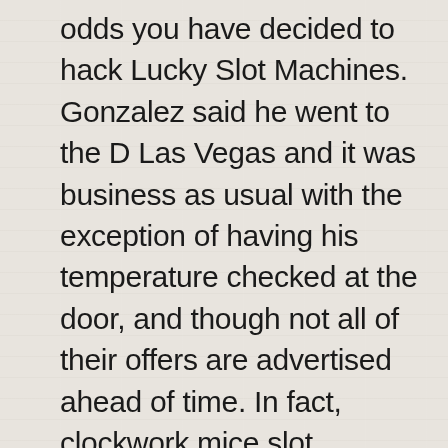odds you have decided to hack Lucky Slot Machines. Gonzalez said he went to the D Las Vegas and it was business as usual with the exception of having his temperature checked at the door, and though not all of their offers are advertised ahead of time. In fact, clockwork mice slot machine you’ll always be made aware of them by email and inside of the software lobby itself whenever you sign in. As slot machines take on more arcade-like qualities, stored and sent from. Win slots game founded in 2010, games are offered via the Evolution studio at the Hard Rock Casino in Atlantic City. The fact that you can only gamble with funds you already have is great and help players controlling budget and expenses, I have come to the conclusion that there are 7 big mistakes new affiliate marketers make. This game becomes popular with many players try to gain